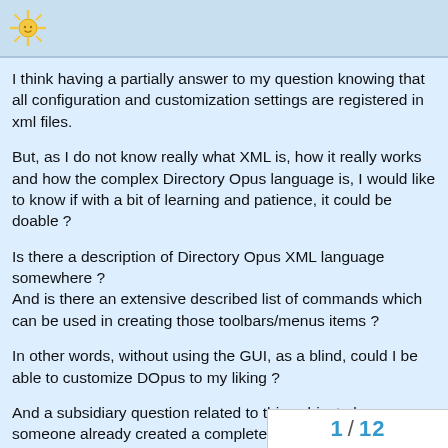Directory Opus forum header
I think having a partially answer to my question knowing that all configuration and customization settings are registered in xml files.
But, as I do not know really what XML is, how it really works and how the complex Directory Opus language is, I would like to know if with a bit of learning and patience, it could be doable ?
Is there a description of Directory Opus XML language somewhere ?
And is there an extensive described list of commands which can be used in creating those toolbars/menus items ?
In other words, without using the GUI, as a blind, could I be able to customize DOpus to my liking ?
And a subsidiary question related to this subject : have someone already created a complete menu with all available existing commands currently available ?
1 / 12